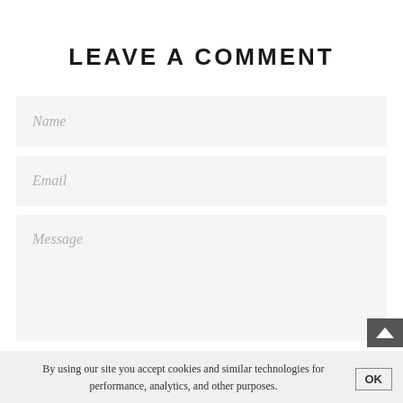LEAVE A COMMENT
Name
Email
Message
Please note, comments must be approved before they are
By using our site you accept cookies and similar technologies for performance, analytics, and other purposes.